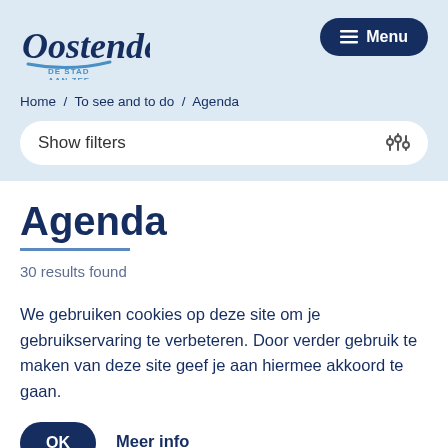[Figure (logo): Oostende De Stad Aan Zee logo in dark blue script]
≡ Menu
Home / To see and to do / Agenda
Show filters
Agenda
30 results found
We gebruiken cookies op deze site om je gebruikservaring te verbeteren. Door verder gebruik te maken van deze site geef je aan hiermee akkoord te gaan.
OK  Meer info